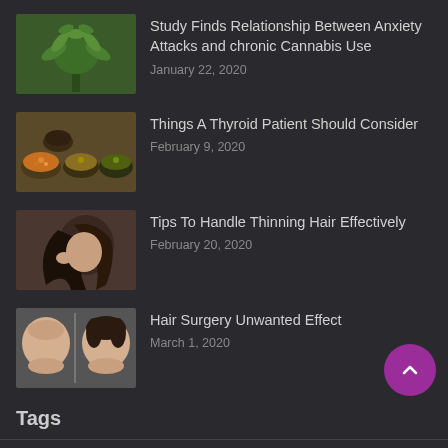[Figure (photo): Cannabis plant with green leaves]
Study Finds Relationship Between Anxiety Attacks and chronic Cannabis Use
January 22, 2020
[Figure (photo): Assorted foods and spices in bowls, thyroid diet]
Things A Thyroid Patient Should Consider
February 9, 2020
[Figure (photo): Woman holding her hair, thinning hair concept]
Tips To Handle Thinning Hair Effectively
February 20, 2020
[Figure (photo): Before and after hair surgery comparison]
Hair Surgery Unwanted Effect
March 1, 2020
Tags